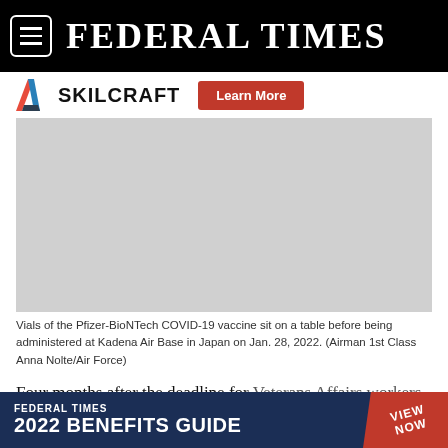FEDERAL TIMES
[Figure (logo): SKILCRAFT logo with red and blue diagonal stripes, with a red Learn More button]
[Figure (photo): Gray placeholder image representing vials of Pfizer-BioNTech COVID-19 vaccine on a table at Kadena Air Base in Japan]
Vials of the Pfizer-BioNTech COVID-19 vaccine sit on a table before being administered at Kadena Air Base in Japan on Jan. 28, 2022. (Airman 1st Class Anna Nolte/Air Force)
Four months after the deadline for Veterans Affairs workers to be
[Figure (infographic): Federal Times 2022 Benefits Guide banner advertisement with VIEW NOW badge]